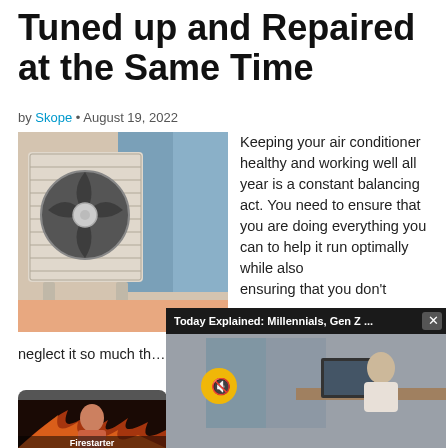Tuned up and Repaired at the Same Time
by Skope • August 19, 2022
[Figure (photo): Outdoor air conditioner unit mounted on wall]
Keeping your air conditioner healthy and working well all year is a constant balancing act. You need to ensure that you are doing everything you can to help it run optimally while also ensuring that you don't
neglect it so much th... To get your AC tune...
Read more →
[Figure (screenshot): Video popup overlay: Today Explained: Millennials, Gen Z ... with close button, showing person at desk in office]
[Figure (photo): Advertisement thumbnail - Firestarter movie/game ad with woman on fire background]
[Figure (photo): Second advertisement thumbnail partially visible]